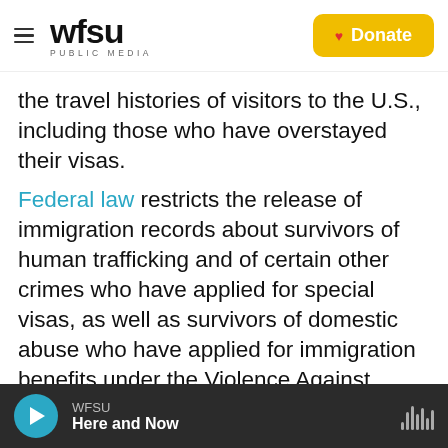[Figure (logo): WFSU Public Media logo with hamburger menu icon on the left and a yellow Donate button with heart on the right]
the travel histories of visitors to the U.S., including those who have overstayed their visas.
Federal law restricts the release of immigration records about survivors of human trafficking and of certain other crimes who have applied for special visas, as well as survivors of domestic abuse who have applied for immigration benefits under the Violence Against Women Act. Still, USCIS has asked for permission to release to the Census Bureau data about refugees and asylum-seekers, whose records generally cannot be shared without their consent or a waiver signed by the Homeland
WFSU Here and Now